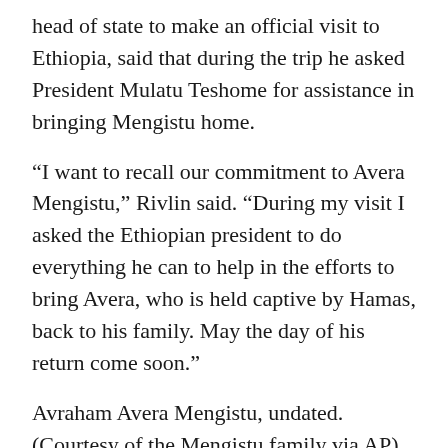head of state to make an official visit to Ethiopia, said that during the trip he asked President Mulatu Teshome for assistance in bringing Mengistu home.
“I want to recall our commitment to Avera Mengistu,” Rivlin said. “During my visit I asked the Ethiopian president to do everything he can to help in the efforts to bring Avera, who is held captive by Hamas, back to his family. May the day of his return come soon.”
Avraham Avera Mengistu, undated. (Courtesy of the Mengistu family via AP)
Hamas believed to be holding two Israeli civilians who entered Gaza of their own volition, Mengistu and Hisham al-Sayed. In addition, the terror group is also believed to